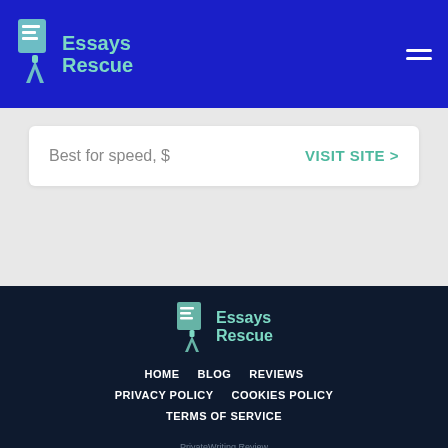Essays Rescue
Best for speed, $
VISIT SITE >
[Figure (logo): Essays Rescue footer logo with pen nib icon and teal text]
HOME
BLOG
REVIEWS
PRIVACY POLICY
COOKIES POLICY
TERMS OF SERVICE
PrivateWriting Review